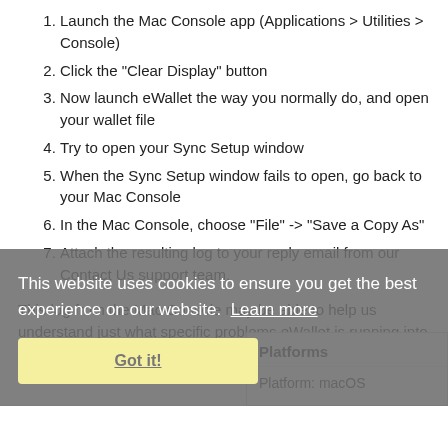1. Launch the Mac Console app (Applications > Utilities > Console)
2. Click the "Clear Display" button
3. Now launch eWallet the way you normally do, and open your wallet file
4. Try to open your Sync Setup window
5. When the Sync Setup window fails to open, go back to your Mac Console
6. In the Mac Console, choose "File" -> "Save a Copy As"
7. Attach the resulting log to your reply email from our Contact Us support team.
This log from the Mac Console may be able to help us understand just what specific problems eWallet is running into on your computer.
This website uses cookies to ensure you get the best experience on our website. Learn more
| Platforms |
| --- |
| Platform: macOS |
Got it!